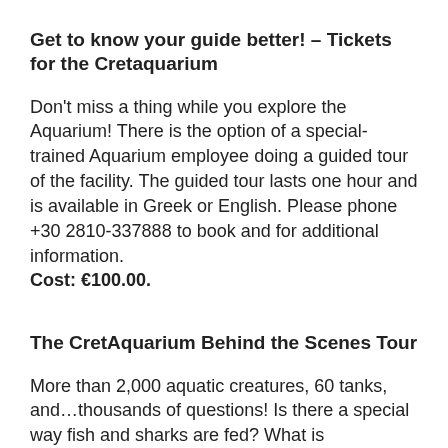Get to know your guide better! – Tickets for the Cretaquarium
Don't miss a thing while you explore the Aquarium! There is the option of a special-trained Aquarium employee doing a guided tour of the facility. The guided tour lasts one hour and is available in Greek or English. Please phone +30 2810-337888 to book and for additional information. Cost: €100.00.
The CretAquarium Behind the Scenes Tour
More than 2,000 aquatic creatures, 60 tanks, and…thousands of questions! Is there a special way fish and sharks are fed? What is